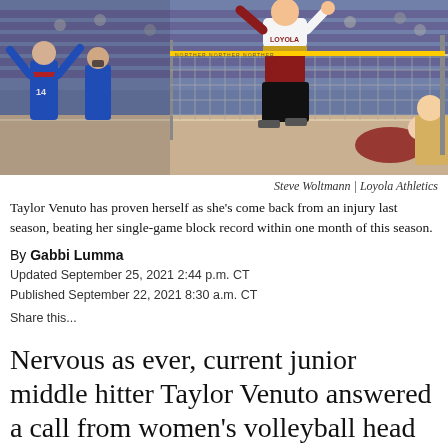[Figure (photo): Volleyball match photo showing players at the net, one player in white/maroon Loyola uniform jumping to spike while players in blue uniforms attempt to block. Arena setting with purple seats visible in background.]
Steve Woltmann | Loyola Athletics
Taylor Venuto has proven herself as she's come back from an injury last season, beating her single-game block record within one month of this season.
By Gabbi Lumma
Updated September 25, 2021 2:44 p.m. CT
Published September 22, 2021 8:30 a.m. CT
Share this...
Nervous as ever, current junior middle hitter Taylor Venuto answered a call from women's volleyball head